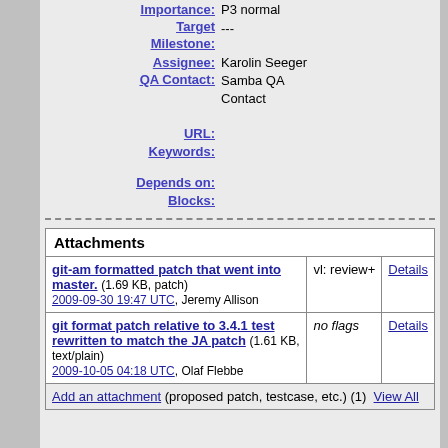Importance: P3 normal
Target Milestone: ---
Assignee: Karolin Seeger
QA Contact: Samba QA Contact
URL:
Keywords:
Depends on:
Blocks:
| Attachments |  |  |
| --- | --- | --- |
| git-am formatted patch that went into master. (1.69 KB, patch) 2009-09-30 19:47 UTC, Jeremy Allison | vl: review+ | Details |
| git format patch relative to 3.4.1 test rewritten to match the JA patch (1.61 KB, text/plain) 2009-10-05 04:18 UTC, Olaf Flebbe | no flags | Details |
| Add an attachment (proposed patch, testcase, etc.) (1)  View All |  |  |